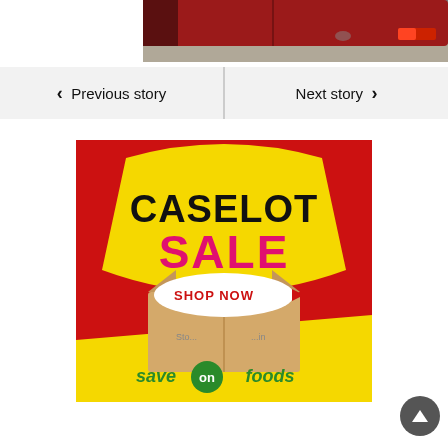[Figure (photo): Partial view of a red car trunk/rear, seen from behind, on a grey ground surface.]
< Previous story   Next story >
[Figure (illustration): Save On Foods Caselot Sale advertisement banner. Yellow shield badge with black text CASELOT and pink/magenta text SALE on red background. Open cardboard box with SHOP NOW button. Save On Foods logo at bottom on yellow background.]